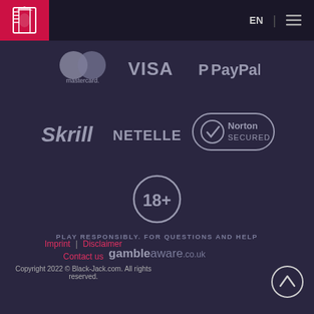EN ☰ (Black-Jack.com logo navigation)
[Figure (logo): Payment method logos: Mastercard, VISA, PayPal]
[Figure (logo): Payment method logos: Skrill, NETELLER, Norton Secured]
[Figure (infographic): 18+ age restriction badge circle]
PLAY RESPONSIBLY. FOR QUESTIONS AND HELP
gambleaware.co.uk
Imprint | Disclaimer | Contact us | Copyright 2022 © Black-Jack.com. All rights reserved.